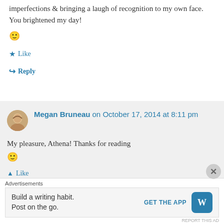imperfections & bringing a laugh of recognition to my own face. You brightened my day!
🙂
★ Like
↪ Reply
Megan Bruneau on October 17, 2014 at 8:11 pm
My pleasure, Athena! Thanks for reading
🙂
▲ Like
Advertisements
Build a writing habit. Post on the go.
GET THE APP
REPORT THIS AD